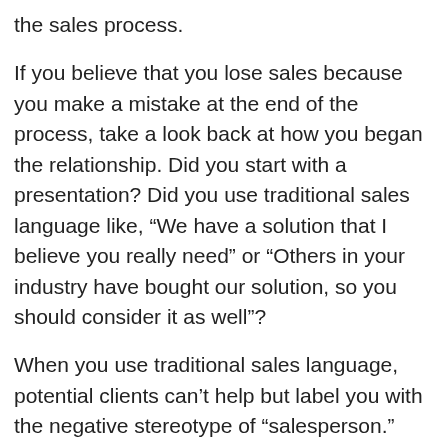the sales process.
If you believe that you lose sales because you make a mistake at the end of the process, take a look back at how you began the relationship. Did you start with a presentation? Did you use traditional sales language like, “We have a solution that I believe you really need” or “Others in your industry have bought our solution, so you should consider it as well”?
When you use traditional sales language, potential clients can’t help but label you with the negative stereotype of “salesperson.” This makes it almost impossible for them to relate to you from a position of trust. And if trust isn’t established at the outset, honest communication about the problems they’re trying to solve, and how you might be able to help them, becomes impossible too.